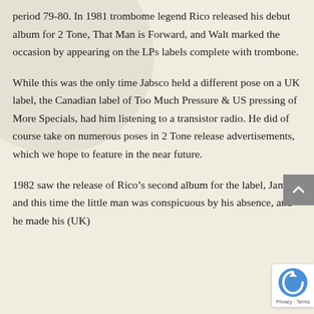period 79-80. In 1981 trombome legend Rico released his debut album for 2 Tone, That Man is Forward, and Walt marked the occasion by appearing on the LPs labels complete with trombone.
While this was the only time Jabsco held a different pose on a UK label, the Canadian label of Too Much Pressure & US pressing of More Specials, had him listening to a transistor radio. He did of course take on numerous poses in 2 Tone release advertisements, which we hope to feature in the near future.
1982 saw the release of Rico’s second album for the label, Jama, and this time the little man was conspicuous by his absence, and he made his (UK)